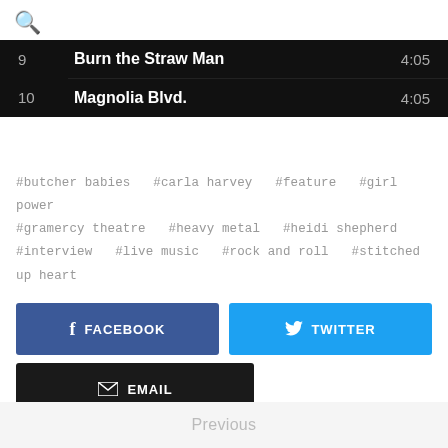[Figure (screenshot): Search icon (magnifying glass) in top left corner]
| # | Title | Duration |
| --- | --- | --- |
| 9 | Burn the Straw Man | 4:05 |
| 10 | Magnolia Blvd. | 4:05 |
#butcher babies  #carla harvey  #feature  #girl power  #gramercy theatre  #heavy metal  #heidi shepherd  #interview  #live music  #rock and roll  #stitched up heart
FACEBOOK  TWITTER  EMAIL